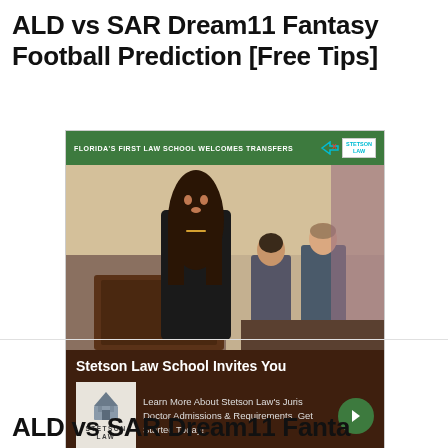ALD vs SAR Dream11 Fantasy Football Prediction [Free Tips]
[Figure (photo): Advertisement for Stetson Law School showing a woman at a podium in a courtroom setting, with text 'Stetson Law School Invites You' and 'Learn More About Stetson Law's Juris Doctor Admissions & Requirements. Get Started Today!']
ALD vs SAR Dream11 Fanta...